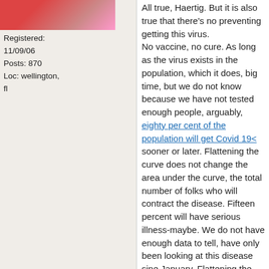[Figure (photo): Small avatar photo of a person, partially visible at top of left column]
Registered: 11/09/06
Posts: 870
Loc: wellington, fl
All true, Haertig. But it is also true that there's no preventing getting this virus.
No vaccine, no cure. As long as the virus exists in the population, which it does, big time, but we do not know because we have not tested enough people, arguably, eighty per cent of the population will get Covid 19< sooner or later. Flattening the curve does not change the area under the curve, the total number of folks who will contract the disease. Fifteen percent will have serious illness-maybe. We do not have enough data to tell, have only been looking at this disease sine January. Flattening the curve is not about avoiding infection, it's about extending the timeline and avoiding lines at the ICU. But we don't know, because we haven't tested.
Same applies to the Fox News article about transfer of disease by physical objects: no proof that it happens, but no studies that prove it does not. Noravirus, Hep A and e. coli transmits by groceries, but those are fecal-oral transmission pathogens, and lots of places use fecal fertilizer.

So 80% get the virus, 15% get seriously, and the folks who get seriously ill are predominantly old or immune-compromised. If we can flatten the curve, perhaps we can do civilian triage, and try to save them all. If not, we will do military triage, and write off the least likely to benefit. If we do the latter, we can abandon the social-distance experiment and get the economy moving again. It's a classic survival ethical calculus, discussed a thousand